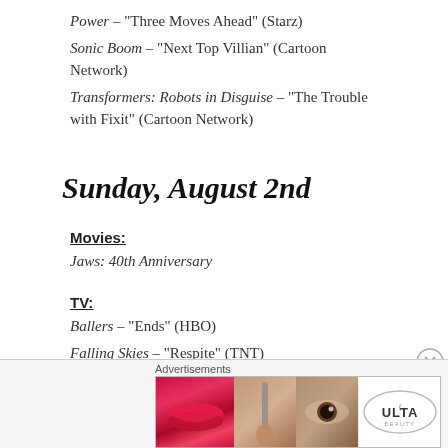Power – "Three Moves Ahead" (Starz)
Sonic Boom – "Next Top Villian" (Cartoon Network)
Transformers: Robots in Disguise – "The Trouble with Fixit" (Cartoon Network)
Sunday, August 2nd
Movies:
Jaws: 40th Anniversary
TV:
Ballers – "Ends" (HBO)
Falling Skies – "Respite" (TNT)
Halt and Catch Fire – "Heaven is a Place" (AMC)
Advertisements
[Figure (other): ULTA beauty advertisement banner with makeup imagery and SHOP NOW call to action]